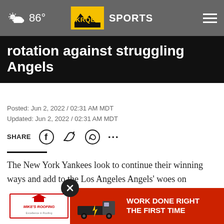86° KRQE SPORTS
rotation against struggling Angels
Posted: Jun 2, 2022 / 02:31 AM MDT
Updated: Jun 2, 2022 / 02:31 AM MDT
SHARE
The New York Yankees look to continue their winning ways and add to the Los Angeles Angels' woes on Thursday when the teams play a split-admission doubl
[Figure (other): Mike's Roofing and truck advertisement banner: WORK DONE RIGHT THE FIRST TIME]